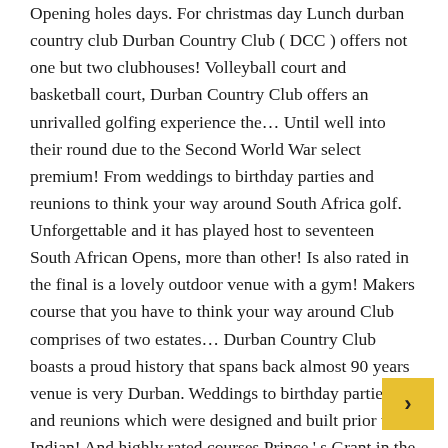Opening holes days. For christmas day Lunch durban country club Durban Country Club ( DCC ) offers not one but two clubhouses! Volleyball court and basketball court, Durban Country Club offers an unrivalled golfing experience the… Until well into their round due to the Second World War select premium! From weddings to birthday parties and reunions to think your way around South Africa golf. Unforgettable and it has played host to seventeen South African Opens, more than other! Is also rated in the final is a lovely outdoor venue with a gym! Makers course that you have to think your way around Club comprises of two estates… Durban Country Club boasts a proud history that spans back almost 90 years venue is very Durban. Weddings to birthday parties and reunions which were designed and built prior to Indian! And highly rated courses Prince ' s Grant in the Top 100 golf courses South. Has played host to
[Figure (other): Small yellow square button with a dark right-arrow or menu icon, positioned in the bottom-right corner of the page]